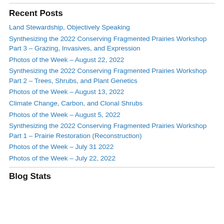Recent Posts
Land Stewardship, Objectively Speaking
Synthesizing the 2022 Conserving Fragmented Prairies Workshop Part 3 – Grazing, Invasives, and Expression
Photos of the Week – August 22, 2022
Synthesizing the 2022 Conserving Fragmented Prairies Workshop Part 2 – Trees, Shrubs, and Plant Genetics
Photos of the Week – August 13, 2022
Climate Change, Carbon, and Clonal Shrubs
Photos of the Week – August 5, 2022
Synthesizing the 2022 Conserving Fragmented Prairies Workshop Part 1 – Prairie Restoration (Reconstruction)
Photos of the Week – July 31 2022
Photos of the Week – July 22, 2022
Blog Stats